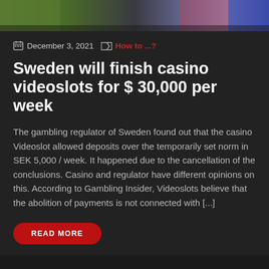[Figure (photo): Partial photo strip at top showing outdoor scene with greenery and colorful background]
December 3, 2021   How to ...?
Sweden will finish casino videoslots for $ 30,000 per week
The gambling regulator of Sweden found out that the casino Videoslot allowed deposits over the temporarily set norm in SEK 5,000 / week. It happened due to the cancellation of the conclusions. Casino and regulator have different opinions on this. According to Gambling Insider, Videoslots believe that the abolition of payments is not connected with [...]
READ MORE